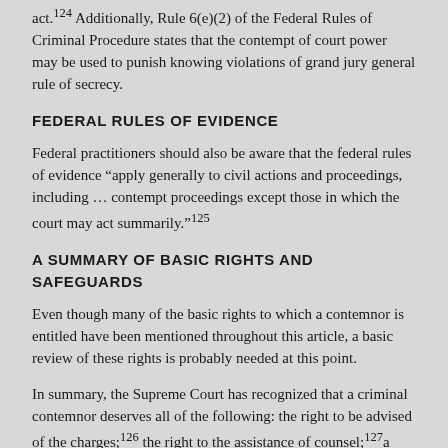act.124 Additionally, Rule 6(e)(2) of the Federal Rules of Criminal Procedure states that the contempt of court power may be used to punish knowing violations of grand jury general rule of secrecy.
FEDERAL RULES OF EVIDENCE
Federal practitioners should also be aware that the federal rules of evidence “apply generally to civil actions and proceedings, including … contempt proceedings except those in which the court may act summarily.”125
A SUMMARY OF BASIC RIGHTS AND SAFEGUARDS
Even though many of the basic rights to which a contemnor is entitled have been mentioned throughout this article, a basic review of these rights is probably needed at this point.
In summary, the Supreme Court has recognized that a criminal contemnor deserves all of the following: the right to be advised of the charges;126 the right to the assistance of counsel;127a right to a jury trial if the sentence imposed will exceed six months confinement or constitute a “nonpetty” fine;128 the presumption of innocence;129 the requirement that guilt be proved beyond a reasonable doubt;130 the right to be tried by an unbiased judge in a public trial in those cases